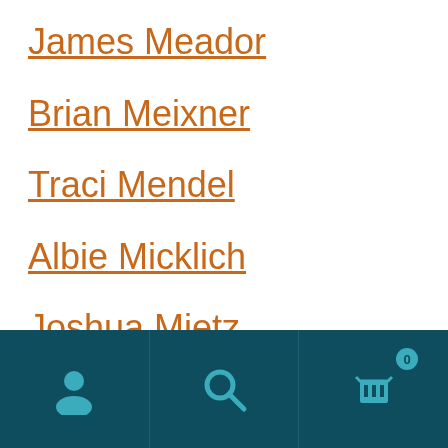James Meador
Brian Meixner
Traci Mendel
Albie Micklich
Joshua Mietz
Ben Miles
Brett Miller
[Figure (screenshot): Mobile app bottom navigation bar with person/account icon, search icon, and shopping cart icon with badge showing 0]